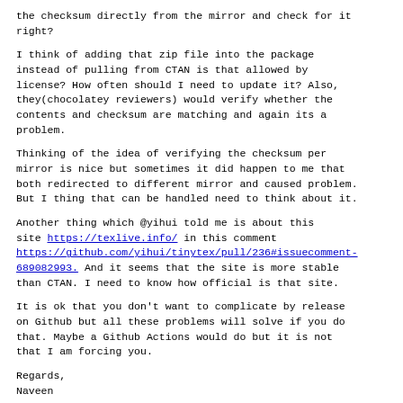the checksum directly from the mirror and check for it right?
I think of adding that zip file into the package instead of pulling from CTAN is that allowed by license? How often should I need to update it? Also, they(chocolatey reviewers) would verify whether the contents and checksum are matching and again its a problem.
Thinking of the idea of verifying the checksum per mirror is nice but sometimes it did happen to me that both redirected to different mirror and caused problem. But I thing that can be handled need to think about it.
Another thing which @yihui told me is about this site https://texlive.info/ in this comment https://github.com/yihui/tinytex/pull/236#issuecomment-689082993. And it seems that the site is more stable than CTAN. I need to know how official is that site.
It is ok that you don't want to complicate by release on Github but all these problems will solve if you do that. Maybe a Github Actions would do but it is not that I am forcing you.
Regards,
Naveen